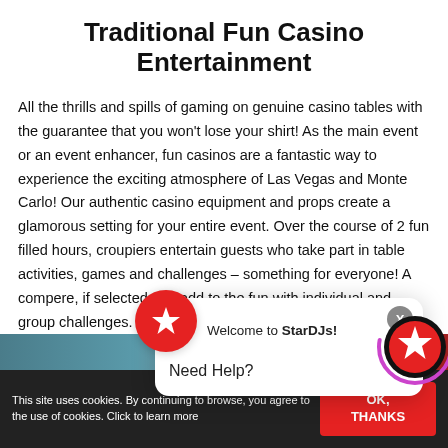Traditional Fun Casino Entertainment
All the thrills and spills of gaming on genuine casino tables with the guarantee that you won't lose your shirt! As the main event or an event enhancer, fun casinos are a fantastic way to experience the exciting atmosphere of Las Vegas and Monte Carlo! Our authentic casino equipment and props create a glamorous setting for your entire event. Over the course of 2 fun filled hours, croupiers entertain guests who take part in table activities, games and challenges – something for everyone! A compere, if selected, will add to the fun with individual and group challenges. The event is brought to an exciting climax with a grand finale to see just who is the Highest Roller!
[Figure (screenshot): Chat popup widget showing 'Welcome to StarDJs!' with a red star logo icon and a close button X, and 'Need Help?' text below]
[Figure (screenshot): Floating red star chat button with purple ring animation in bottom right corner]
This site uses cookies. By continuing to browse, you agree to the use of cookies. Click to learn more
OK, THANKS